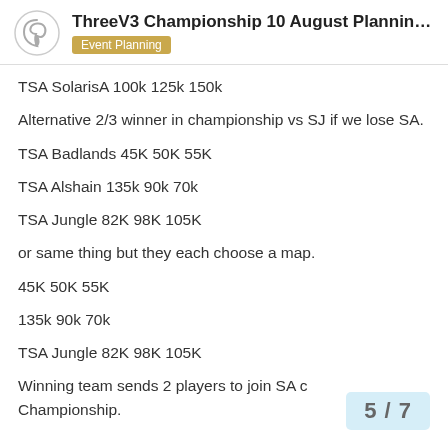ThreeV3 Championship 10 August Planning Thr... — Event Planning
TSA SolarisA 100k 125k 150k
Alternative 2/3 winner in championship vs SJ if we lose SA.
TSA Badlands 45K 50K 55K
TSA Alshain 135k 90k 70k
TSA Jungle 82K 98K 105K
or same thing but they each choose a map.
45K 50K 55K
135k 90k 70k
TSA Jungle 82K 98K 105K
Winning team sends 2 players to join SA c… Championship.
5 / 7